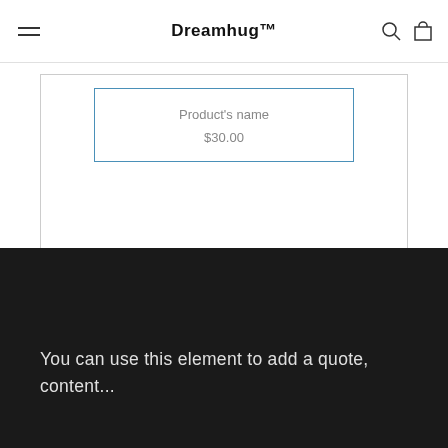Dreamhug™
Product's name
$30.00
You can use this element to add a quote, content...